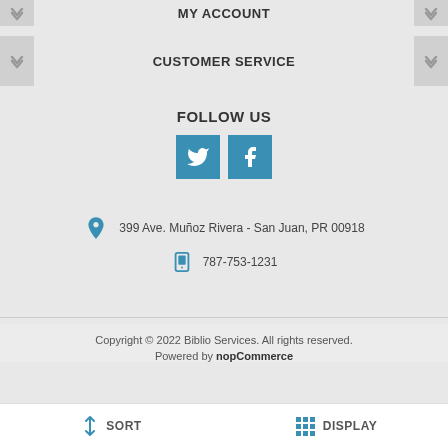MY ACCOUNT
CUSTOMER SERVICE
FOLLOW US
[Figure (illustration): Twitter and Facebook social media icon buttons in blue]
399 Ave. Muñoz Rivera - San Juan, PR 00918
787-753-1231
Copyright © 2022 Biblio Services. All rights reserved. Powered by nopCommerce
SORT
DISPLAY